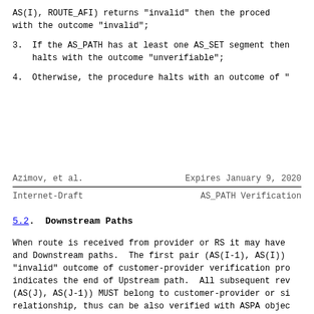AS(I), ROUTE_AFI) returns "invalid" then the procedure halts with the outcome "invalid";
3.  If the AS_PATH has at least one AS_SET segment then the procedure halts with the outcome "unverifiable";
4.  Otherwise, the procedure halts with an outcome of "..."
Azimov, et al.                    Expires January 9, 2020
Internet-Draft                    AS_PATH Verification
5.2.  Downstream Paths
When route is received from provider or RS it may have Upstream and Downstream paths.  The first pair (AS(I-1), AS(I)) "invalid" outcome of customer-provider verification procedure indicates the end of Upstream path.  All subsequent reverse pairs (AS(J), AS(J-1)) MUST belong to customer-provider or sibling relationship, thus can be also verified with ASPA objects.  If there are other types of relationships, it means that the route...